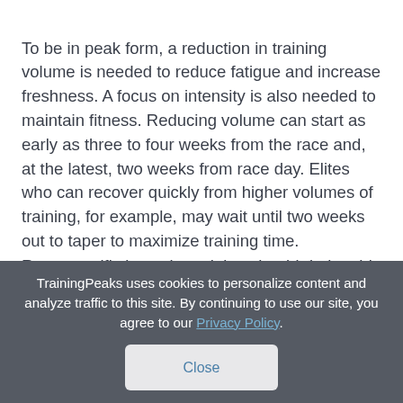To be in peak form, a reduction in training volume is needed to reduce fatigue and increase freshness. A focus on intensity is also needed to maintain fitness. Reducing volume can start as early as three to four weeks from the race and, at the latest, two weeks from race day. Elites who can recover quickly from higher volumes of training, for example, may wait until two weeks out to taper to maximize training time.
Race specific intensity training should during this
TrainingPeaks uses cookies to personalize content and analyze traffic to this site. By continuing to use our site, you agree to our Privacy Policy.
Close